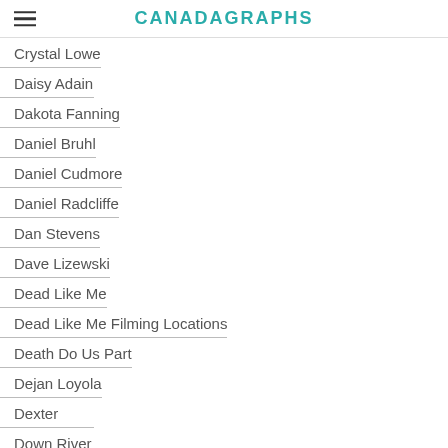CANADAGRAPHS
Crystal Lowe
Daisy Adain
Dakota Fanning
Daniel Bruhl
Daniel Cudmore
Daniel Radcliffe
Dan Stevens
Dave Lizewski
Dead Like Me
Dead Like Me Filming Locations
Death Do Us Part
Dejan Loyola
Dexter
Down River
Downtown Eastside